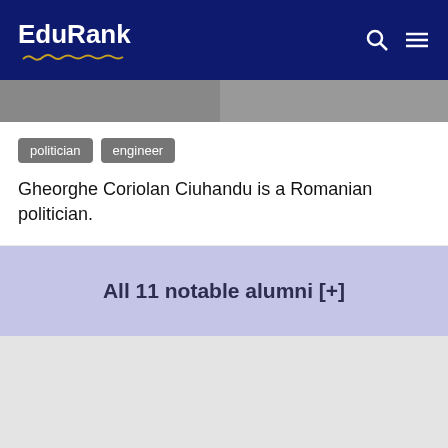EduRank
politician
engineer
Gheorghe Coriolan Ciuhandu is a Romanian politician.
All 11 notable alumni [+]